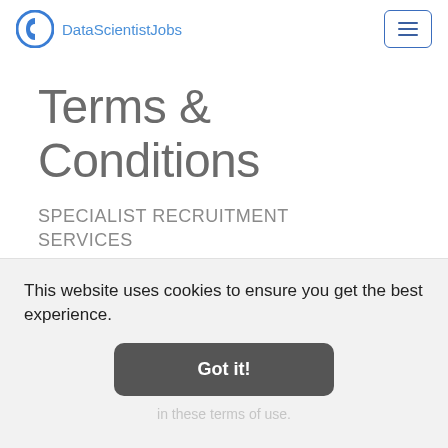DataScientistJobs
Terms & Conditions
SPECIALIST RECRUITMENT SERVICES
This website uses cookies to ensure you get the best experience.
Got it!
in these terms of use.